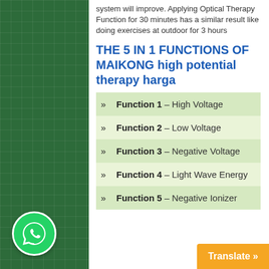system will improve. Applying Optical Therapy Function for 30 minutes has a similar result like doing exercises at outdoor for 3 hours
THE 5 IN 1 FUNCTIONS OF MAIKONG high potential therapy harga
Function 1 – High Voltage
Function 2 – Low Voltage
Function 3 – Negative Voltage
Function 4 – Light Wave Energy
Function 5 – Negative Ionizer